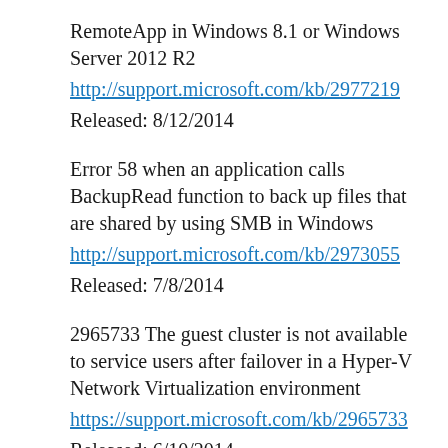RemoteApp in Windows 8.1 or Windows Server 2012 R2
http://support.microsoft.com/kb/2977219
Released: 8/12/2014
Error 58 when an application calls BackupRead function to back up files that are shared by using SMB in Windows
http://support.microsoft.com/kb/2973055
Released: 7/8/2014
2965733 The guest cluster is not available to service users after failover in a Hyper-V Network Virtualization environment
https://support.microsoft.com/kb/2965733
Released: 6/10/2014